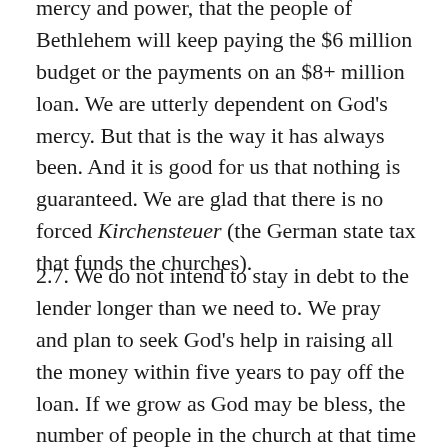mercy and power, that the people of Bethlehem will keep paying the $6 million budget or the payments on an $8+ million loan. We are utterly dependent on God's mercy. But that is the way it has always been. And it is good for us that nothing is guaranteed. We are glad that there is no forced Kirchensteuer (the German state tax that funds the churches).
2.7. We do not intend to stay in debt to the lender longer than we need to. We pray and plan to seek God's help in raising all the money within five years to pay off the loan. If we grow as God may be bless, the number of people in the church at that time will be perhaps 4,000 or 5,000 which makes a payoff of the loan seem